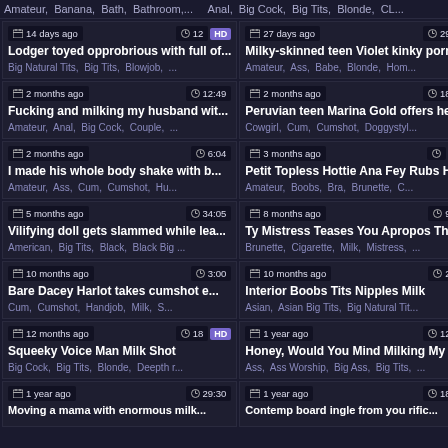Amateur, Banana, Bath, Bathroom,... Anal, Big Cock, Big Tits, Blonde, CL...
14 days ago | 12 | HD | Lodger toyed opprobrious with full of... | Big Natural Tits, Big Tits, Blowjob, ...
27 days ago | 29:15 | Milky-skinned teen Violet kinky porn | Amateur, Ass, Babe, Blonde, Hom...
2 months ago | 12:49 | Fucking and milking my husband wit... | Amateur, Anal, Big Cock, Couple, ...
2 months ago | 18:44 | Peruvian teen Marina Gold offers he... | Cowgirl, Cum, Cumshot, Doggystyl...
2 months ago | 6:04 | I made his whole body shake with b... | Amateur, Ass, Cum, Cumshot, Hu...
3 months ago | HD | Petit Topless Hottie Ana Fey Rubs H... | Amateur, Boobs, Bra, Brunette, C...
5 months ago | 34:05 | Vilifying doll gets slammed while lea... | American, Big Tits, Black, Black Big ...
8 months ago | 9:17 | Ty Mistress Teases You Apropos The ... | Brunette, Cigarette, Milk, Mistress, ...
10 months ago | 3:00 | Bare Dacey Harlot takes cumshot e... | Cum, Cumshot, Handjob, Milk, S...
10 months ago | 2:36 | Interior Boobs Tits Nipples Milk | Asian, Asian Big Tits, Big Natural Tit...
12 months ago | 18 | HD | Squeeky Voice Man Milk Shot | Big Cock, Big Tits, Blonde, Deepth r...
1 year ago | 12:00 | Honey, Would You Mind Milking My ... | Ass, Ass Worship, Big Ass, Big Tits, ...
1 year ago | 29:30 | Moving a mama with enormous milk...
1 year ago | 18:32 | Contemp board ingle from you rific...